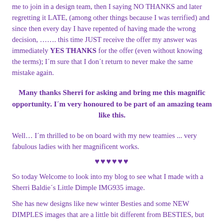me to join in a design team, then I saying NO THANKS and later regretting it LATE, (among other things because I was terrified) and since then every day I have repented of having made the wrong decision, ……. this time JUST receive the offer my answer was immediately YES THANKS for the offer (even without knowing the terms); I´m sure that I don´t return to never make the same mistake again.
Many thanks Sherri for asking and bring me this magnific opportunity. I´m very honoured to be part of an amazing team like this.
Well… I´m thrilled to be on board with my new teamies ... very fabulous ladies with her magnificent works.
♥♥♥♥♥♥
So today Welcome to look into my blog to see what I made with a Sherri Baldie´s Little Dimple IMG935 image.
She has new designs like new winter Besties and some NEW DIMPLES images that are a little bit different from BESTIES, but